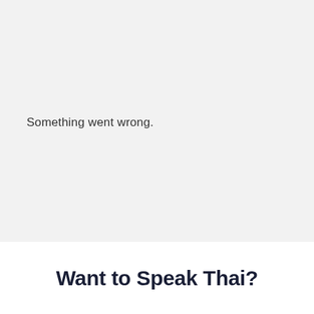[Figure (logo): Three red right-pointing chevron/arrow shapes forming a triple-arrow logo in red]
Something went wrong.
Want to Speak Thai?